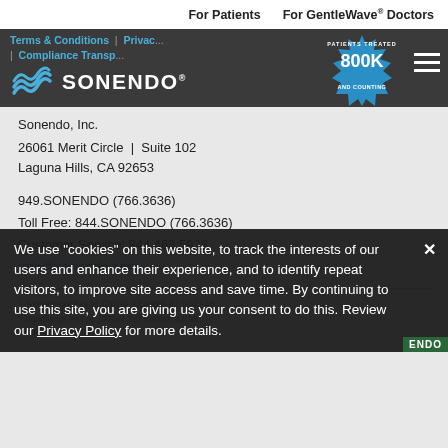For Patients   For GentleWave® Doctors
[Figure (logo): Sonendo logo with wave icon on dark grey navigation band, with 800K Patients Treated and Counting badge and hamburger menu icon. Links: Terms & Conditions | Privacy | Compliance Transp...]
Sonendo, Inc.
26061 Merit Circle  |  Suite 102
Laguna Hills, CA 92653
949.SONENDO (766.3636)
Toll Free: 844.SONENDO (766.3636)
Customer Service: 844.468.5928
info@sonendo.com
¹ Sigurdsson A et al. (2016) J Endod; 42:1040-48
² Vandrangi P et al. (2016) J of Endod; 42:38...
We use "cookies" on this website, to track the interests of our users and enhance their experience, and to identify repeat visitors, to improve site access and save time. By continuing to use this site, you are giving us your consent to do this. Review our Privacy Policy for more details.